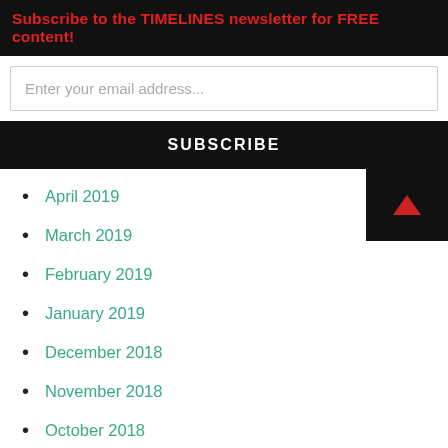Subscribe to the TIMELINES newsletter for FREE content!
Enter your email address...
SUBSCRIBE
April 2019
March 2019
February 2019
January 2019
December 2018
November 2018
October 2018
September 2018
August 2018
July 2018
June 2018
May 2018